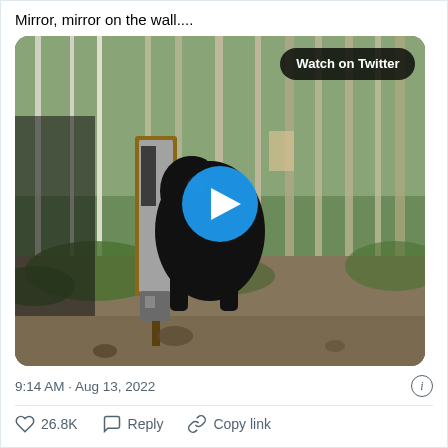Mirror, mirror on the wall....
[Figure (screenshot): Twitter/X embedded video thumbnail showing a black bear interacting with a mirror mounted on a post in a forested area. A blue play button circle is centered on the image. A 'Watch on Twitter' button appears in the top right corner of the video thumbnail.]
9:14 AM · Aug 13, 2022
26.8K  Reply  Copy link